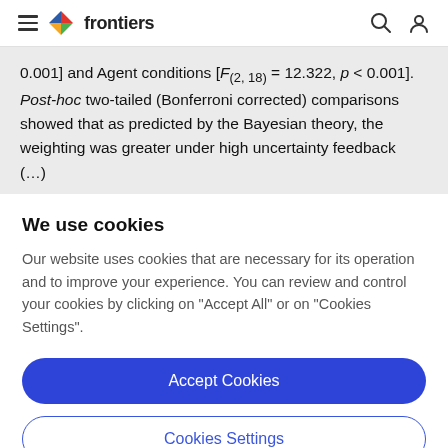frontiers
0.001] and Agent conditions [F(2, 18) = 12.322, p < 0.001]. Post-hoc two-tailed (Bonferroni corrected) comparisons showed that as predicted by the Bayesian theory, the weighting was greater under high uncertainty feedback (…)
We use cookies
Our website uses cookies that are necessary for its operation and to improve your experience. You can review and control your cookies by clicking on "Accept All" or on "Cookies Settings".
Accept Cookies
Cookies Settings